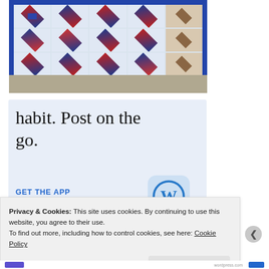[Figure (photo): A colorful quilt with red, white and blue patchwork star pattern blocks hung on a wall, with a blue border.]
habit. Post on the go.
GET THE APP
[Figure (logo): WordPress app logo — blue circle with W on a light blue rounded-square background]
Privacy & Cookies: This site uses cookies. By continuing to use this website, you agree to their use.
To find out more, including how to control cookies, see here: Cookie Policy
Close and accept